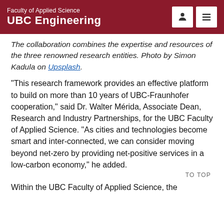Faculty of Applied Science
UBC Engineering
The collaboration combines the expertise and resources of the three renowned research entities. Photo by Simon Kadula on Upsplash.
“This research framework provides an effective platform to build on more than 10 years of UBC-Fraunhofer cooperation,” said Dr. Walter Mérida, Associate Dean,  Research and Industry Partnerships, for the UBC Faculty of Applied Science. “As cities and technologies become smart and inter-connected, we can consider moving beyond net-zero by providing net-positive services in a low-carbon economy,” he added.
Within the UBC Faculty of Applied Science, the